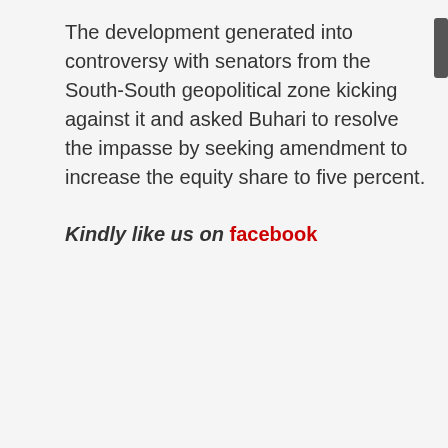The development generated into controversy with senators from the South-South geopolitical zone kicking against it and asked Buhari to resolve the impasse by seeking amendment to increase the equity share to five percent.
Kindly like us on  facebook